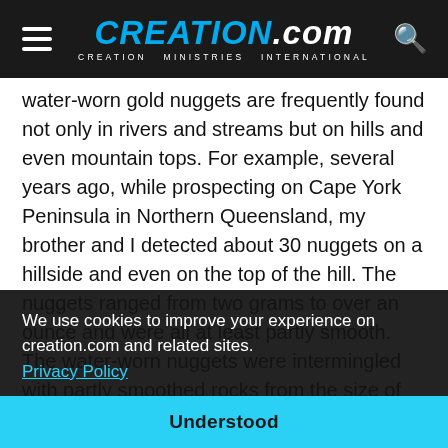CREATION.com — CREATION MINISTRIES INTERNATIONAL
water-worn gold nuggets are frequently found not only in rivers and streams but on hills and even mountain tops. For example, several years ago, while prospecting on Cape York Peninsula in Northern Queensland, my brother and I detected about 30 nuggets on a hillside and even on the top of the hill. The nuggets ranged from two grams to over an ounce and were all at least partly smooth. The water-worn nuggets were intermingled with partly smoothed rocks from the size of marbles to a pumpkin. Many geologists wonder how these high-country rocks became so smooth, but to me it is explained by the world-wide Flood described in the Bible.
We use cookies to improve your experience on creation.com and related sites.
Privacy Policy
Understood